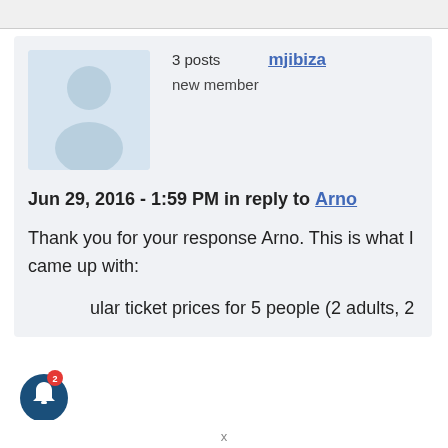3 posts   mjibiza
new member
Jun 29, 2016 - 1:59 PM in reply to Arno
Thank you for your response Arno. This is what I came up with:
ular ticket prices for 5 people (2 adults, 2